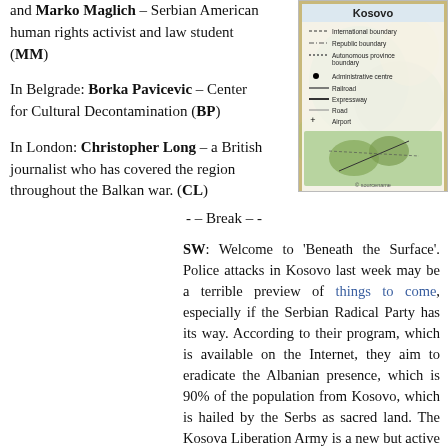and Marko Maglich – Serbian American human rights activist and law student (MM)
In Belgrade: Borka Pavicevic – Center for Cultural Decontamination (BP)
In London: Christopher Long – a British journalist who has covered the region throughout the Balkan war. (CL)
[Figure (map): Map of Kosovo showing international boundary, republic boundary, autonomous province boundary, administrative centre, railroad, expressway, road, airport]
- – Break – -
SW: Welcome to 'Beneath the Surface'. Police attacks in Kosovo last week may be a terrible preview of things to come, especially if the Serbian Radical Party has its way. According to their program, which is available on the Internet, they aim to eradicate the Albanian presence, which is 90% of the population from Kosovo, which is hailed by the Serbs as sacred land. The Kosova Liberation Army is a new but active force as well. And, while the Serbs are responsible for this attack, and Milosevic started his bloody nationalist career with threats to Kosovo in 1987, we are once again witnessing nationalisms confronting each other with bloody consequences. To